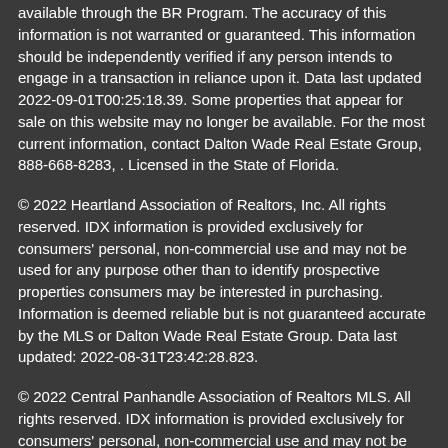available through the BR Program. The accuracy of this information is not warranted or guaranteed. This information should be independently verified if any person intends to engage in a transaction in reliance upon it. Data last updated 2022-09-01T00:25:18.39. Some properties that appear for sale on this website may no longer be available. For the most current information, contact Dalton Wade Real Estate Group, 888-668-8283, . Licensed in the State of Florida.
© 2022 Heartland Association of Realtors, Inc. All rights reserved. IDX information is provided exclusively for consumers' personal, non-commercial use and may not be used for any purpose other than to identify prospective properties consumers may be interested in purchasing. Information is deemed reliable but is not guaranteed accurate by the MLS or Dalton Wade Real Estate Group. Data last updated: 2022-08-31T23:42:28.823.
© 2022 Central Panhandle Association of Realtors MLS. All rights reserved. IDX information is provided exclusively for consumers' personal, non-commercial use and may not be used for any purpose other than to identify prospective properties consumers may be interested in purchasing. Information is deemed reliable